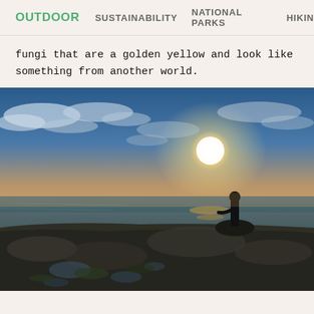OUTDOOR   SUSTAINABILITY   NATIONAL PARKS   HIKING
fungi that are a golden yellow and look like something from another world.
[Figure (photo): A person standing on rocky coastal shoreline silhouetted against a bright sun and dramatic cloudy sky, with calm water reflecting light in the foreground and a tree line visible in the distance.]